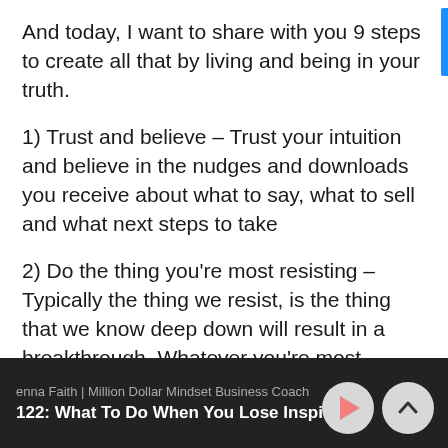And today, I want to share with you 9 steps to create all that by living and being in your truth.
1) Trust and believe – Trust your intuition and believe in the nudges and downloads you receive about what to say, what to sell and what next steps to take
2) Do the thing you're most resisting – Typically the thing we resist, is the thing that we know deep down will result in a breakthrough. Whatever you're most
enna Faith | Million Dollar Mindset Business Coach
122: What To Do When You Lose Inspiration